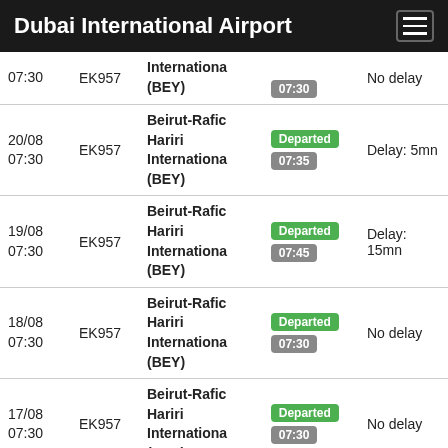Dubai International Airport
| Date/Time | Flight | Destination | Status/Time | Delay |
| --- | --- | --- | --- | --- |
| 07:30 | EK957 | Internationa (BEY) | Departed 07:30 | No delay |
| 20/08 07:30 | EK957 | Beirut-Rafic Hariri Internationa (BEY) | Departed 07:35 | Delay: 5mn |
| 19/08 07:30 | EK957 | Beirut-Rafic Hariri Internationa (BEY) | Departed 07:45 | Delay: 15mn |
| 18/08 07:30 | EK957 | Beirut-Rafic Hariri Internationa (BEY) | Departed 07:30 | No delay |
| 17/08 07:30 | EK957 | Beirut-Rafic Hariri Internationa (BEY) | Departed 07:30 | No delay |
| 16/08 | EK957 | Beirut-Rafic Hariri... | Departed |  |